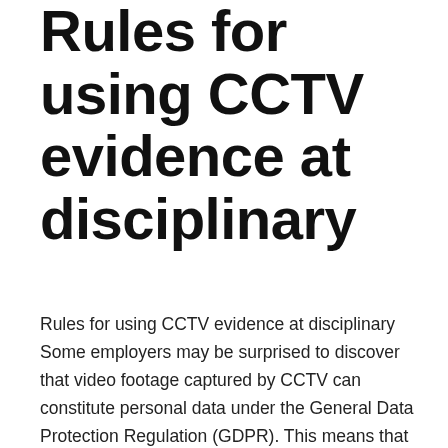Rules for using CCTV evidence at disciplinary
Rules for using CCTV evidence at disciplinary Some employers may be surprised to discover that video footage captured by CCTV can constitute personal data under the General Data Protection Regulation (GDPR). This means that there are certain rules that must be followed when processing this data, especially in the context of using this footage as evidence of an employee's misconduct. The following guide for employers looks at the legal